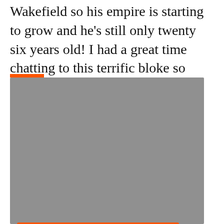Wakefield so his empire is starting to grow and he's still only twenty six years old! I had a great time chatting to this terrific bloke so enjoy the conversation
[Figure (screenshot): SoundCloud embedded player widget showing a grey player area with an orange 'Play on SoundCloud' button and a 'Listen in browser' button below it.]